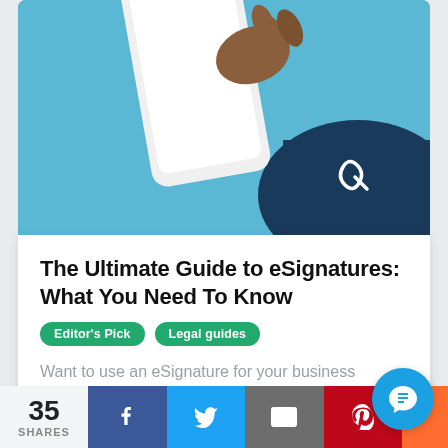[Figure (photo): Hero image showing a hand holding a smartphone against a blue background with a dark navy branded card showing a white logo in the bottom right corner.]
The Ultimate Guide to eSignatures: What You Need To Know
Editor's Pick  Legal guides
Want to use an eSignature for your business processes but don't know where to begin? Our ultimate guide will help you understand everything there is to know.
35 SHARES